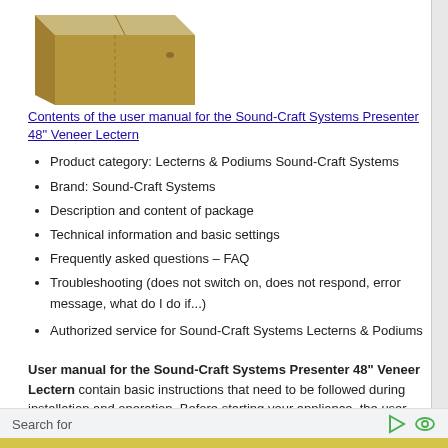[Figure (photo): Cardboard box image representing the product package for Sound-Craft Systems Presenter 48 inch Veneer Lectern]
Contents of the user manual for the Sound-Craft Systems Presenter 48" Veneer Lectern
Product category: Lecterns & Podiums Sound-Craft Systems
Brand: Sound-Craft Systems
Description and content of package
Technical information and basic settings
Frequently asked questions – FAQ
Troubleshooting (does not switch on, does not respond, error message, what do I do if...)
Authorized service for Sound-Craft Systems Lecterns & Podiums
User manual for the Sound-Craft Systems Presenter 48" Veneer Lectern contain basic instructions that need to be followed during installation and operation. Before starting your appliance, the user manual should be read through carefully. Follow all the safety instructions and warnings, and be guided by the given recommendations. User manual is an integral part of any Sound-
Search for
1.  Owners Manual Online